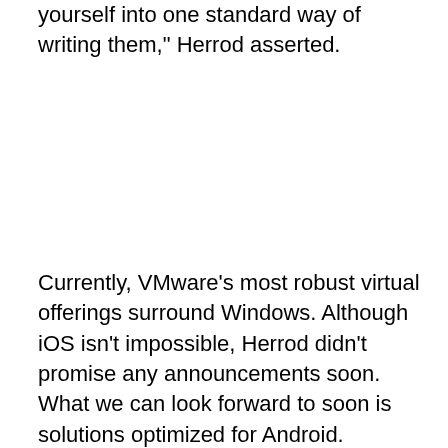the space moves so quickly, you don't want to lock yourself into one standard way of writing them," Herrod asserted.
Currently, VMware's most robust virtual offerings surround Windows. Although iOS isn't impossible, Herrod didn't promise any announcements soon. What we can look forward to soon is solutions optimized for Android.